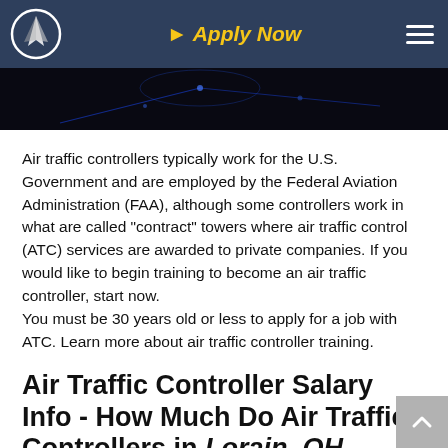Apply Now
[Figure (photo): Dark hero image showing air traffic control equipment with blue lighting]
Air traffic controllers typically work for the U.S. Government and are employed by the Federal Aviation Administration (FAA), although some controllers work in what are called "contract" towers where air traffic control (ATC) services are awarded to private companies. If you would like to begin training to become an air traffic controller, start now.
You must be 30 years old or less to apply for a job with ATC. Learn more about air traffic controller training.
Air Traffic Controller Salary Info - How Much Do Air Traffic Controllers in Lorain, OH Make?